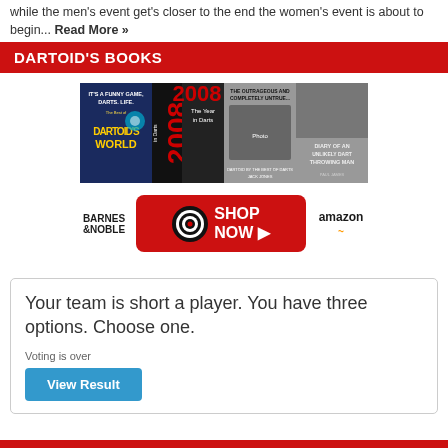while the men's event get's closer to the end the women's event is about to begin... Read More »
DARTOID'S BOOKS
[Figure (illustration): Four book covers for Dartoid's books: 'It's a Funny Game, Darts, Life. The Best of Dartoid's World', 'The Year in Darts 2008', 'The Outrageous and Completely Untrue...', and 'Diary of a Darts Throwing...']
[Figure (infographic): Shop Now button with dartboard icon, flanked by Barnes & Noble and Amazon logos]
Your team is short a player. You have three options. Choose one.
Voting is over
View Result